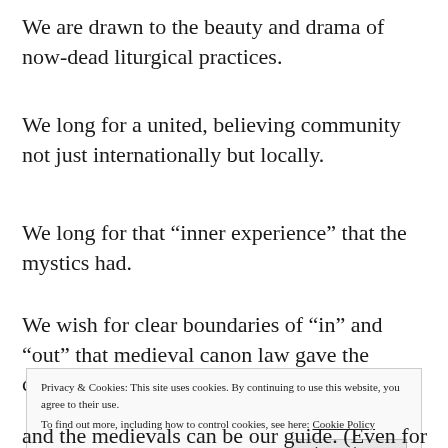We are drawn to the beauty and drama of now-dead liturgical practices.
We long for a united, believing community not just internationally but locally.
We long for that “inner experience” that the mystics had.
We wish for clear boundaries of “in” and “out” that medieval canon law gave the church.
Privacy & Cookies: This site uses cookies. By continuing to use this website, you agree to their use.
To find out more, including how to control cookies, see here: Cookie Policy
Close and accept
and the medievals can be our guide. (Even for